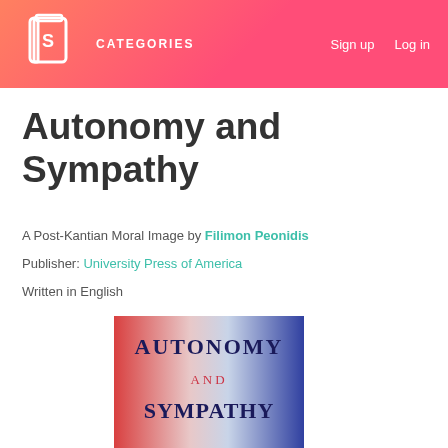CATEGORIES   Sign up   Log in
Autonomy and Sympathy
A Post-Kantian Moral Image by Filimon Peonidis
Publisher: University Press of America
Written in English
[Figure (illustration): Book cover of Autonomy and Sympathy showing red and blue gradient background with title text AUTONOMY AND SYMPATHY in dark serif font]